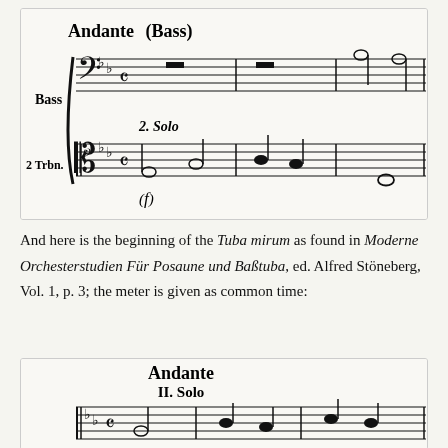[Figure (illustration): Musical score excerpt showing Andante tempo marking with Bass and 2 Trbn. parts in B-flat, common time (C), with notes and rests. Shows 'Bass' label, '(Bass)' annotation, '2. Solo' marking, and dynamic marking (f).]
And here is the beginning of the Tuba mirum as found in Moderne Orchesterstudien Für Posaune und Baßtuba, ed. Alfred Stöneberg, Vol. 1, p. 3; the meter is given as common time:
[Figure (illustration): Musical score excerpt showing Andante tempo marking, II. Solo marking, with trombone/tuba part in B-flat common time (C) with notes.]